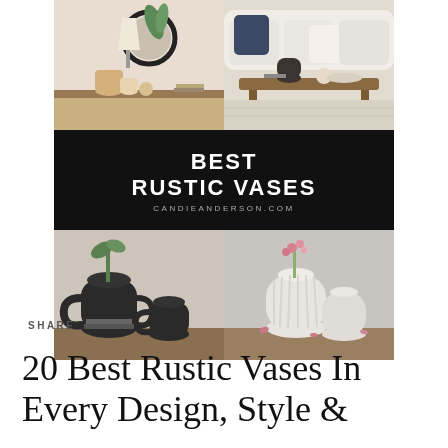[Figure (photo): A 2x3 collage of interior design photos featuring rustic vases. Top-left: beige and natural tone vases on a shelf with a round mirror and lamp. Top-right: dark ceramic vase and ball on a wooden coffee table with a sofa. Center: black banner reading 'BEST RUSTIC VASES' with 'candieanderson.com' below. Bottom-left: dark black ceramic handled jugs/vases on a wooden surface. Bottom-right: white ribbed ceramic vases with pink flowers.]
SHARE
20 Best Rustic Vases In Every Design, Style &